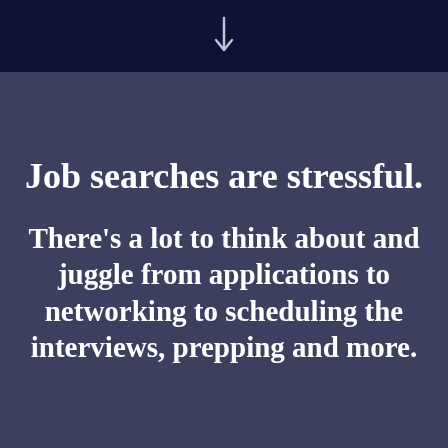[Figure (illustration): Down arrow icon on dark navy background]
Job searches are stressful.
There's a lot to think about and juggle from applications to networking to scheduling the interviews, prepping and more.